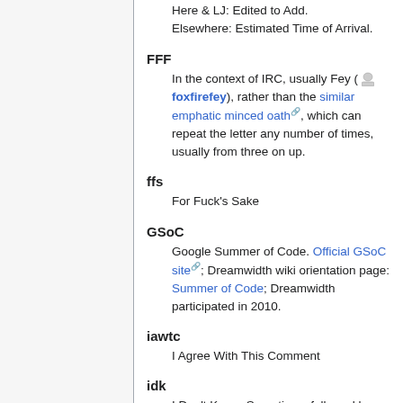Here & LJ: Edited to Add.
Elsewhere: Estimated Time of Arrival.
FFF
In the context of IRC, usually Fey (foxfirefey), rather than the similar emphatic minced oath, which can repeat the letter any number of times, usually from three on up.
ffs
For Fuck's Sake
GSoC
Google Summer of Code. Official GSoC site; Dreamwidth wiki orientation page: Summer of Code; Dreamwidth participated in 2010.
iawtc
I Agree With This Comment
idk
I Don't Know. Sometimes followed by